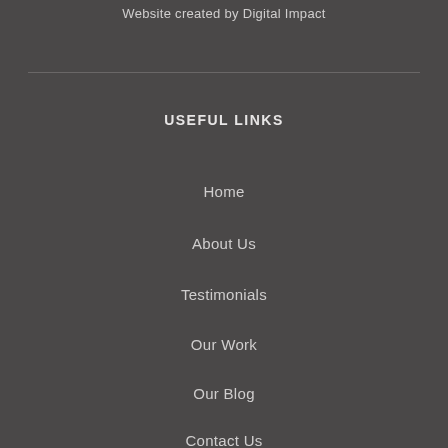Website created by Digital Impact
USEFUL LINKS
Home
About Us
Testimonials
Our Work
Our Blog
Contact Us
SOCIAL MEDIA